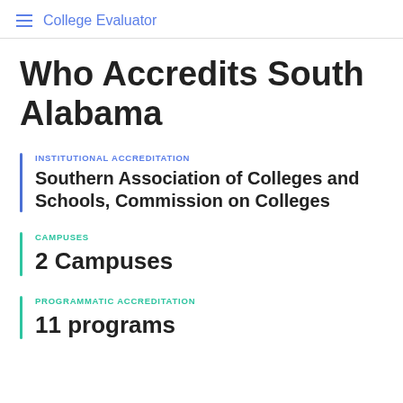College Evaluator
Who Accredits South Alabama
INSTITUTIONAL ACCREDITATION
Southern Association of Colleges and Schools, Commission on Colleges
CAMPUSES
2 Campuses
PROGRAMMATIC ACCREDITATION
11 programs